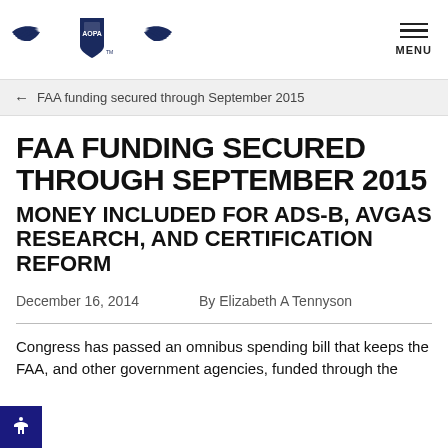AOPA logo and MENU navigation
← FAA funding secured through September 2015
FAA FUNDING SECURED THROUGH SEPTEMBER 2015
MONEY INCLUDED FOR ADS-B, AVGAS RESEARCH, AND CERTIFICATION REFORM
December 16, 2014    By Elizabeth A Tennyson
Congress has passed an omnibus spending bill that keeps the FAA, and other government agencies, funded through the